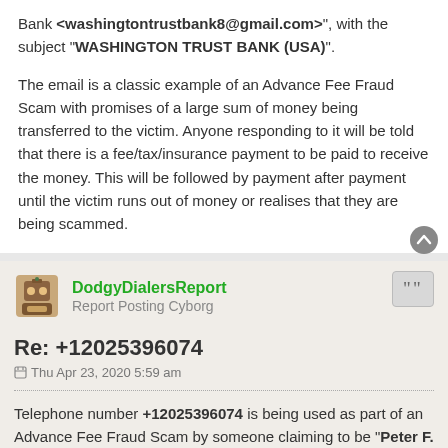Bank <washingtontrustbank8@gmail.com>, with the subject "WASHINGTON TRUST BANK (USA)".
The email is a classic example of an Advance Fee Fraud Scam with promises of a large sum of money being transferred to the victim. Anyone responding to it will be told that there is a fee/tax/insurance payment to be paid to receive the money. This will be followed by payment after payment until the victim runs out of money or realises that they are being scammed.
DodgyDialersReport
Report Posting Cyborg
Re: +12025396074
Thu Apr 23, 2020 5:59 am
Telephone number +12025396074 is being used as part of an Advance Fee Fraud Scam by someone claiming to be "Peter F. Stanton", Chairman and CEO of Washington Trust Bank and